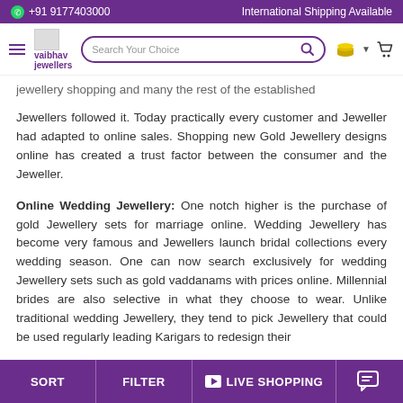+91 9177403000 | International Shipping Available
[Figure (screenshot): Navigation bar with Vaibhav Jewellers logo, hamburger menu, search box reading 'Search Your Choice', coin icon, and cart icon]
jewellery shopping and many the rest of the established Jewellers followed it. Today practically every customer and Jeweller had adapted to online sales. Shopping new Gold Jewellery designs online has created a trust factor between the consumer and the Jeweller.
Online Wedding Jewellery: One notch higher is the purchase of gold Jewellery sets for marriage online. Wedding Jewellery has become very famous and Jewellers launch bridal collections every wedding season. One can now search exclusively for wedding Jewellery sets such as gold vaddanams with prices online. Millennial brides are also selective in what they choose to wear. Unlike traditional wedding Jewellery, they tend to pick Jewellery that could be used regularly leading Karigars to redesign their
SORT | FILTER | LIVE SHOPPING | [chat icon]